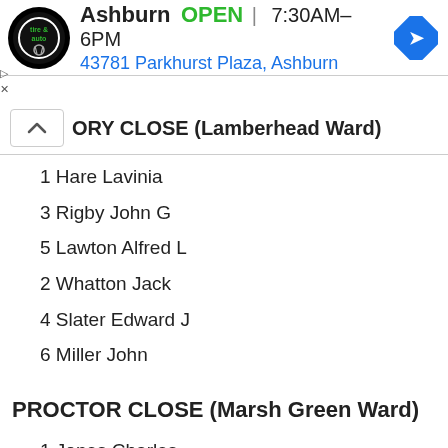[Figure (infographic): Advertisement banner: Virginia Tire & Auto logo, Ashburn location, OPEN 7:30AM-6PM, 43781 Parkhurst Plaza Ashburn, navigation arrow icon]
ORY CLOSE (Lamberhead Ward)
1 Hare Lavinia
3 Rigby John G
5 Lawton Alfred L
2 Whatton Jack
4 Slater Edward J
6 Miller John
PROCTOR CLOSE (Marsh Green Ward)
1 Jones Charles
2 Edwards John
3 Murphy Peter
4 Bird Thomas
5 Clarke Thomas M
6 Kearns John